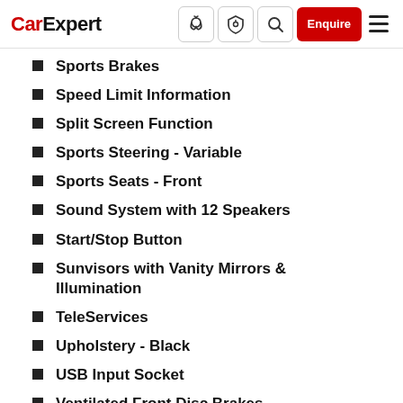CarExpert
Sports Brakes
Speed Limit Information
Split Screen Function
Sports Steering - Variable
Sports Seats - Front
Sound System with 12 Speakers
Start/Stop Button
Sunvisors with Vanity Mirrors & Illumination
TeleServices
Upholstery - Black
USB Input Socket
Ventilated Front Disc Brakes
Velour Floor Mat...